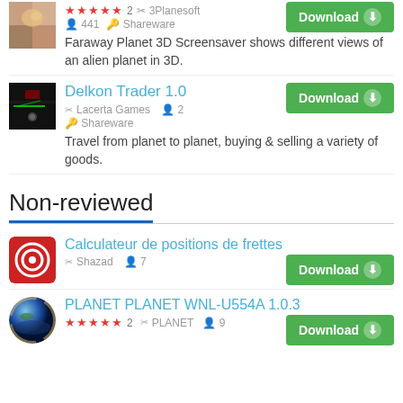Faraway Planet 3D Screensaver 1.1 — ★★★★★ 2 · 3Planesoft · 441 · Shareware — Faraway Planet 3D Screensaver shows different views of an alien planet in 3D. — Download
Delkon Trader 1.0 — Lacerta Games · 2 · Shareware — Travel from planet to planet, buying & selling a variety of goods. — Download
Non-reviewed
Calculateur de positions de frettes — Shazad · 7 — Download
PLANET PLANET WNL-U554A 1.0.3 — ★★★★★ 2 · PLANET · 9 — Download